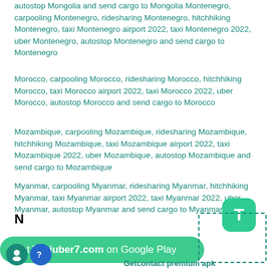autostop Mongolia and send cargo to Mongolia Montenegro, carpooling Montenegro, ridesharing Montenegro, hitchhiking Montenegro, taxi Montenegro airport 2022, taxi Montenegro 2022, uber Montenegro, autostop Montenegro and send cargo to Montenegro
Morocco, carpooling Morocco, ridesharing Morocco, hitchhiking Morocco, taxi Morocco airport 2022, taxi Morocco 2022, uber Morocco, autostop Morocco and send cargo to Morocco
Mozambique, carpooling Mozambique, ridesharing Mozambique, hitchhiking Mozambique, taxi Mozambique airport 2022, taxi Mozambique 2022, uber Mozambique, autostop Mozambique and send cargo to Mozambique
Myanmar, carpooling Myanmar, ridesharing Myanmar, hitchhiking Myanmar, taxi Myanmar airport 2022, taxi Myanmar 2022, uber Myanmar, autostop Myanmar and send cargo to Myanmar
N
[Figure (other): Green rounded square button with white letter T]
Get Taxiuber7.com on Google Play
Getcontact premium apk